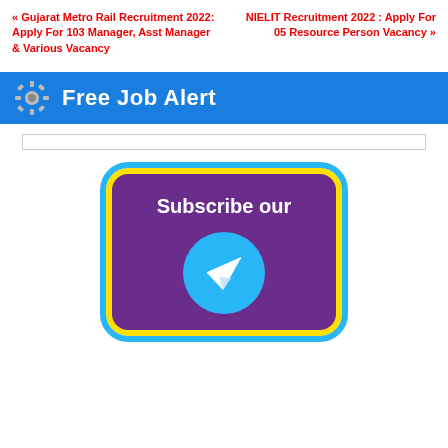« Gujarat Metro Rail Recruitment 2022: Apply For 103 Manager, Asst Manager & Various Vacancy
NIELIT Recruitment 2022 : Apply For 05 Resource Person Vacancy »
Free Job Alert
[Figure (infographic): Subscribe our Telegram channel banner with gear icon, yellow and blue border, purple background, Telegram paper plane logo]
Subscribe our